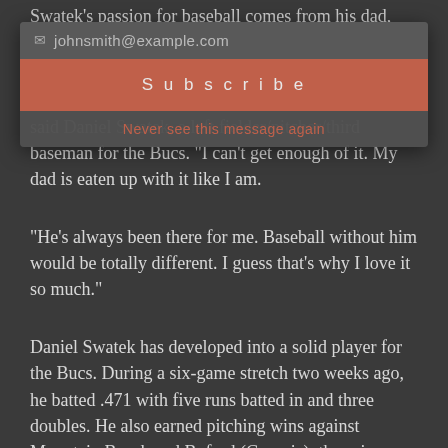Swatek's passion for baseball comes from his dad, Dan. S...wood in the MLB in 1988 and 1989.
"I've had a bat in my hand just about all my life," said Daniel Swatek, a left fielder/pitcher/third baseman for the Bucs. "I can't get enough of it. My dad is eaten up with it like I am.
"He's always been there for me. Baseball without him would be totally different. I guess that's why I love it so much."
Daniel Swatek has developed into a solid player for the Bucs. During a six-game stretch two weeks ago, he batted .471 with five runs batted in and three doubles. He also earned pitching wins against Mountain Brook and Buford (Georgia), throwing nine innings with 13 strikeouts and a 0.778 ERA while allowing one walk.